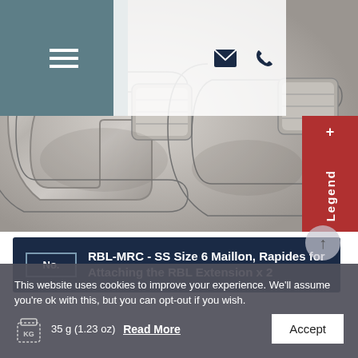[Figure (photo): Close-up photo of two stainless steel quick links (maillon rapides) with hex barrel connectors against a metallic background]
RBL-MRC - SS Size 6 Maillon, Rapides for Attaching the RBL Extension x 2
This website uses cookies to improve your experience. We'll assume you're ok with this, but you can opt-out if you wish.
35 g (1.23 oz)
Read More
Accept